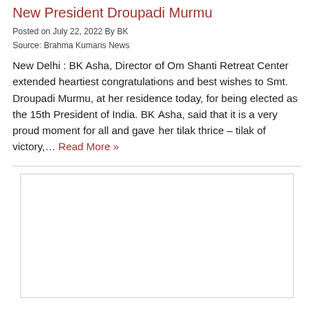New President Droupadi Murmu
Posted on July 22, 2022 By BK
Source: Brahma Kumaris News
New Delhi :  BK Asha, Director of Om Shanti Retreat Center extended heartiest congratulations and best wishes to Smt. Droupadi Murmu, at her residence today, for being elected as the 15th President of India. BK Asha, said that it is a very proud moment for all and gave her tilak thrice – tilak of victory,… Read More »
[Figure (other): Empty white placeholder box below a horizontal divider line]